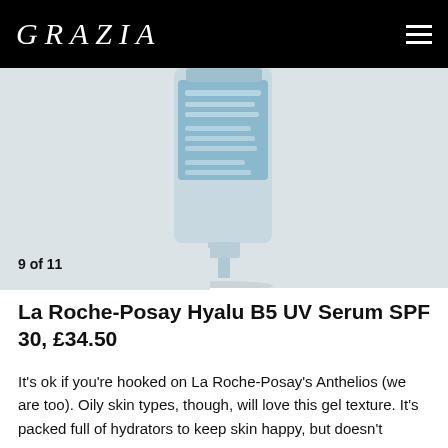GRAZIA
[Figure (photo): La Roche-Posay Hyalu B5 UV Serum product tube with light blue label on a light gray background]
9 of 11
La Roche-Posay Hyalu B5 UV Serum SPF 30, £34.50
It's ok if you're hooked on La Roche-Posay's Anthelios (we are too). Oily skin types, though, will love this gel texture. It's packed full of hydrators to keep skin happy, but doesn't